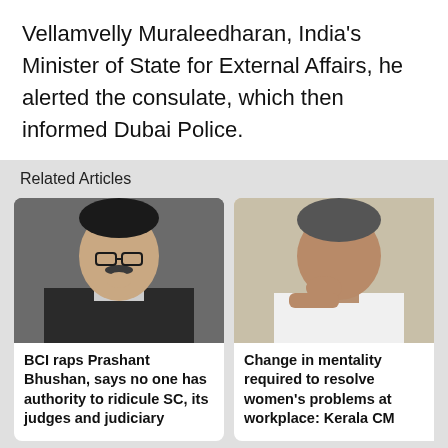Vellamvelly Muraleedharan, India's Minister of State for External Affairs, he alerted the consulate, which then informed Dubai Police.
Related Articles
[Figure (photo): Photo of a man in suit with glasses, hand near chin — BCI raps Prashant Bhushan article card]
BCI raps Prashant Bhushan, says no one has authority to ridicule SC, its judges and judiciary
[Figure (photo): Photo of an older man in white — Change in mentality required to resolve women's problems at workplace: Kerala CM]
Change in mentality required to resolve women's problems at workplace: Kerala CM
Vipul said he was thankful to Dubai Police for their swift response to rescue the four women, all in their twenties.